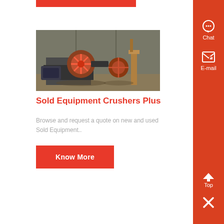[Figure (photo): Industrial crusher/mill equipment with orange components in a factory/warehouse setting]
Sold Equipment Crushers Plus
Browse and request a quote on new and used Sold Equipment..
Know More